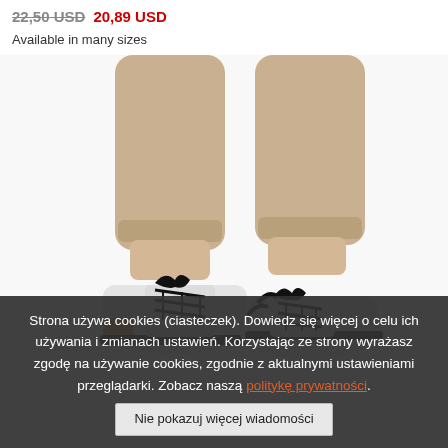22,50 USD  20,89 USD
Available in many sizes
[Figure (photo): Close-up photo of a person wearing beige/khaki trousers and white lace-up ankle boots with black laces and a tan/wood-colored block heel, shown from the knees down on a white background.]
Strona używa cookies (ciasteczek). Dowiedz się więcej o celu ich używania i zmianach ustawień. Korzystając ze strony wyrażasz zgodę na używanie cookies, zgodnie z aktualnymi ustawieniami przeglądarki. Zobacz naszą politykę prywatności.
Nie pokazuj więcej wiadomości